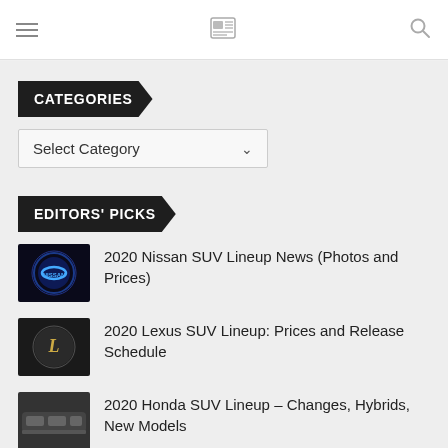Navigation bar with hamburger menu, newspaper logo, and search icon
CATEGORIES
Select Category
EDITORS' PICKS
2020 Nissan SUV Lineup News (Photos and Prices)
2020 Lexus SUV Lineup: Prices and Release Schedule
2020 Honda SUV Lineup – Changes, Hybrids, New Models
2020 Ford SUV Lineup FULL REVIEW –